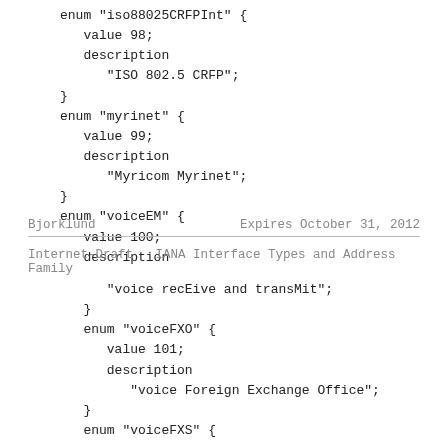enum "iso88025CRFPInt" {
   value 98;
   description
      "ISO 802.5 CRFP";
}
enum "myrinet" {
   value 99;
   description
      "Myricom Myrinet";
}
enum "voiceEM" {
   value 100;
   description
Bjorklund                    Expires October 31, 2012
Internet-Draft   IANA Interface Types and Address Family
"voice recEive and transMit";
      }
      enum "voiceFXO" {
         value 101;
         description
            "voice Foreign Exchange Office";
      }
      enum "voiceFXS" {